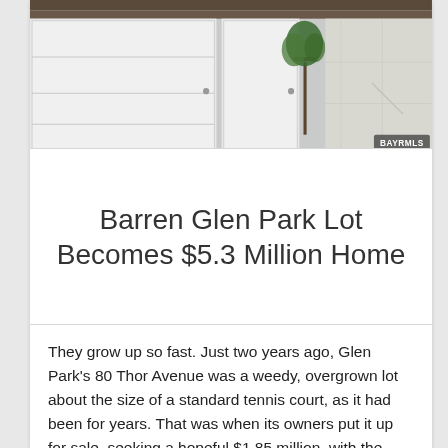[Figure (photo): Exterior photo showing white garage/entry doors, a potted plant on a stand, and a light-colored paved pathway. An MLS watermark badge is visible in the bottom right corner.]
Barren Glen Park Lot Becomes $5.3 Million Home
They grow up so fast. Just two years ago, Glen Park's 80 Thor Avenue was a weedy, overgrown lot about the size of a standard tennis court, as it had been for years. That was when its owners put it up for sale, seeking a hopeful $1.85 million, with the addition of permits for an …